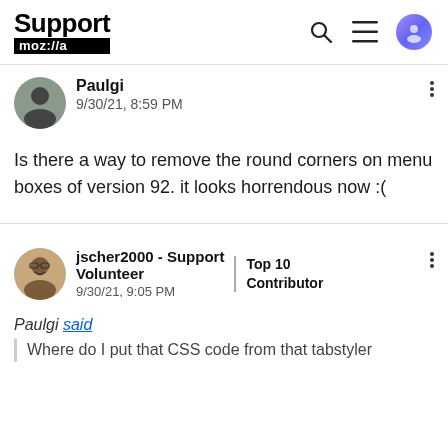Support moz://a
Paulgi
9/30/21, 8:59 PM
Is there a way to remove the round corners on menu boxes of version 92. it looks horrendous now :(
jscher2000 - Support Volunteer
9/30/21, 9:05 PM
Top 10 Contributor
Paulgi said
Where do I put that CSS code from that tabstyler